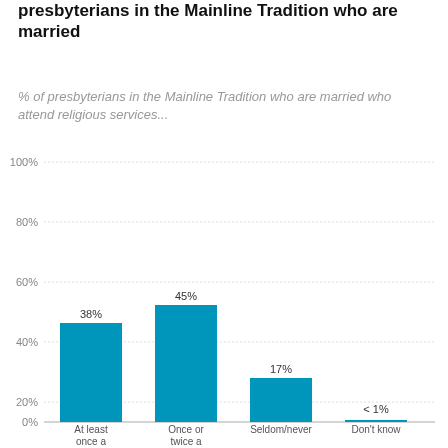presbyterians in the Mainline Tradition who are married
% of presbyterians in the Mainline Tradition who are married who attend religious services...
[Figure (bar-chart): presbyterians in the Mainline Tradition who are married]